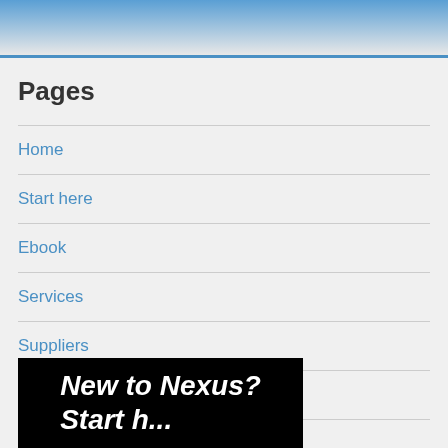Pages
Home
Start here
Ebook
Services
Suppliers
Contact Us
[Figure (illustration): Black banner with white bold italic text reading 'New to Nexus? Start h...']